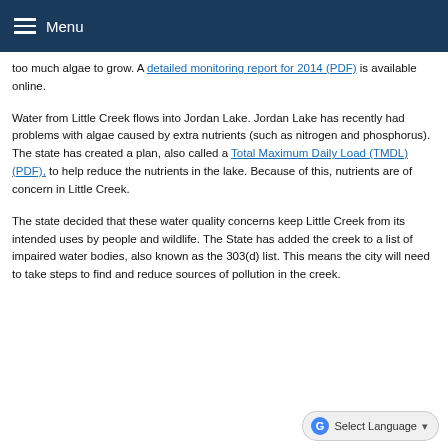Menu
too much algae to grow. A detailed monitoring report for 2014 (PDF) is available online.
Water from Little Creek flows into Jordan Lake. Jordan Lake has recently had problems with algae caused by extra nutrients (such as nitrogen and phosphorus). The state has created a plan, also called a Total Maximum Daily Load (TMDL) (PDF), to help reduce the nutrients in the lake. Because of this, nutrients are of concern in Little Creek.
The state decided that these water quality concerns keep Little Creek from its intended uses by people and wildlife. The State has added the creek to a list of impaired water bodies, also known as the 303(d) list. This means the city will need to take steps to find and reduce sources of pollution in the creek.